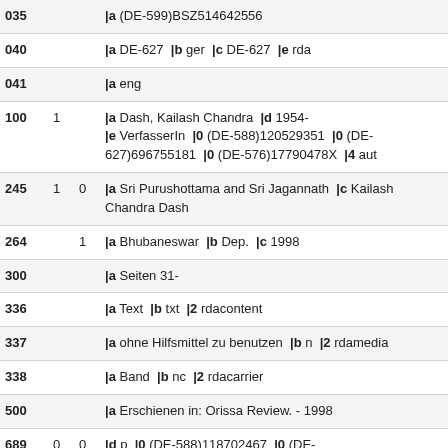| Tag | I1 | I2 | Content |
| --- | --- | --- | --- |
| 035 |  |  | |a (DE-599)BSZ514642556 |
| 040 |  |  | |a DE-627  |b ger  |c DE-627  |e rda |
| 041 |  |  | |a eng |
| 100 | 1 |  | |a Dash, Kailash Chandra  |d 1954-  |e VerfasserIn  |0 (DE-588)120529351  |0 (DE-627)696755181  |0 (DE-576)17790478X  |4 aut |
| 245 | 1 | 0 | |a Sri Purushottama and Sri Jagannath  |c Kailash Chandra Dash |
| 264 |  | 1 | |a Bhubaneswar  |b Dep.  |c 1998 |
| 300 |  |  | |a Seiten 31- |
| 336 |  |  | |a Text  |b txt  |2 rdacontent |
| 337 |  |  | |a ohne Hilfsmittel zu benutzen  |b n  |2 rdamedia |
| 338 |  |  | |a Band  |b nc  |2 rdacarrier |
| 500 |  |  | |a Erschienen in: Orissa Review. - 1998 |
| 689 | 0 | 0 | |d p  |0 (DE-588)118702467  |0 (DE- |